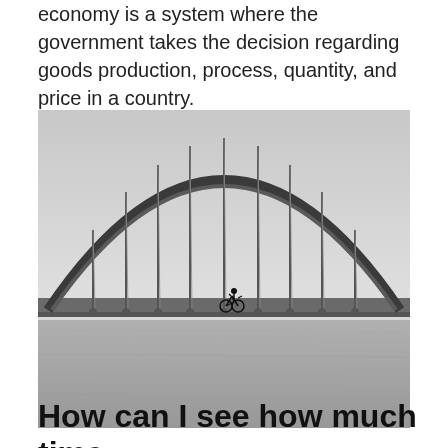economy is a system where the government takes the decision regarding goods production, process, quantity, and price in a country.
[Figure (photo): Black and white photograph of a large arch bridge over water, with a lone cyclist visible on the bridge deck, shot from a distance showing the full arch span and its vertical suspender cables.]
How can I see how much time